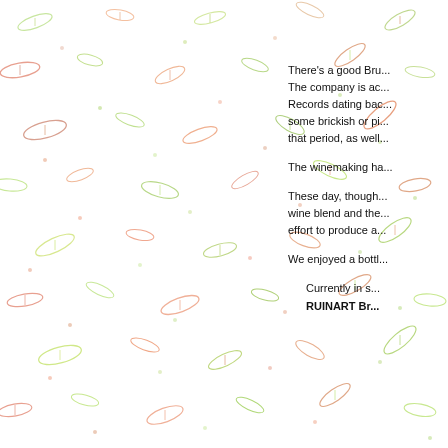[Figure (illustration): Decorative background pattern of scattered small leaf/grain shapes in light green and light red/salmon colors covering the entire page]
There's a good Bru... The company is ac... Records dating bac... some brickish or pi... that period, as well...
The winemaking ha...
These day, though... wine blend and the... effort to produce a...
We enjoyed a bottl...
Currently in s... RUINART Br...